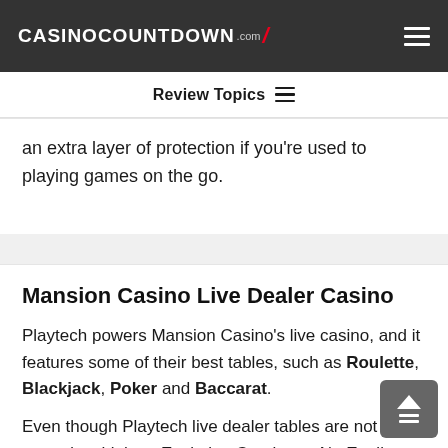CASINOCOUNTDOWN .com
Review Topics
an extra layer of protection if you're used to playing games on the go.
Mansion Casino Live Dealer Casino
Playtech powers Mansion Casino's live casino, and it features some of their best tables, such as Roulette, Blackjack, Poker and Baccarat.
Even though Playtech live dealer tables are not ranked as high as Evolution Gaming or NetEnt live games, they are certainly worth the visit and are a common sight at